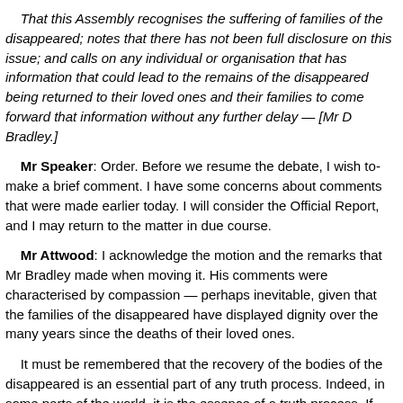That this Assembly recognises the suffering of families of the disappeared; notes that there has not been full disclosure on this issue; and calls on any individual or organisation that has information that could lead to the remains of the disappeared being returned to their loved ones and their families to come forward that information without any further delay — [Mr D Bradley.]
Mr Speaker: Order. Before we resume the debate, I wish to make a brief comment. I have some concerns about comments that were made earlier today. I will consider the Official Report, and I may return to the matter in due course.
Mr Attwood: I acknowledge the motion and the remarks that Mr Bradley made when moving it. His comments were characterised by compassion — perhaps inevitable, given that the families of the disappeared have displayed dignity over the many years since the deaths of their loved ones.
It must be remembered that the recovery of the bodies of the disappeared is an essential part of any truth process. Indeed, in some parts of the world, it is the essence of a truth process. If one considers what is happening in various Latin American countries, or what has been happening in Spain over the past several weeks as a consequence of the civil war there, the issue of the recovery of those killed — or the disappeared — can never be laid to rest and is central to the truth process of any society that is emerging from conflict.